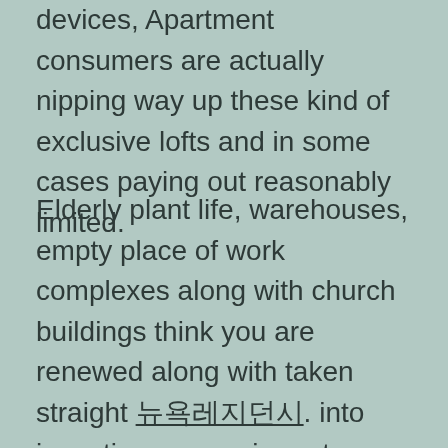devices, Apartment consumers are actually nipping way up these kind of exclusive lofts and in some cases paying out reasonably limited.
Elderly plant life, warehouses, empty place of work complexes along with church buildings think you are renewed along with taken straight 뉴욕레지던시. into inventive conversion rates. These kind of old-fashioned complexes get their unique record along with modern day loft area consumers will be more curious than inside harmony involving previous along with brand-new. It doesn't head paying out further